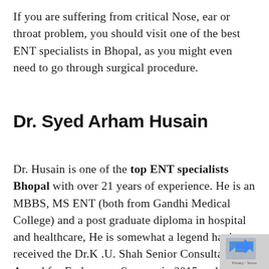If you are suffering from critical Nose, ear or throat problem, you should visit one of the best ENT specialists in Bhopal, as you might even need to go through surgical procedure.
Dr. Syed Arham Husain
Dr. Husain is one of the top ENT specialists Bhopal with over 21 years of experience. He is an MBBS, MS ENT (both from Gandhi Medical College) and a post graduate diploma in hospital and healthcare, He is somewhat a legend having received the Dr.K .U. Shah Senior Consultant Award for Endoscopy Surgery in 2015 and he was among the top ENT...